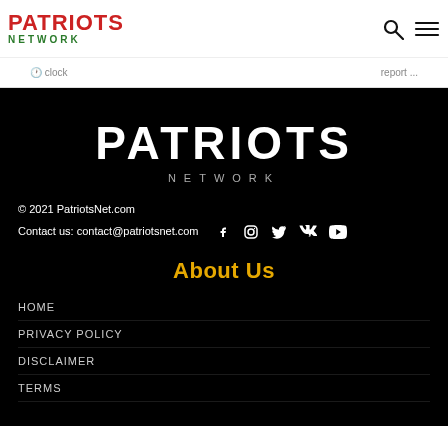PATRIOTS NETWORK
© 2021 PatriotsNet.com
Contact us: contact@patriotsnet.com
PATRIOTS NETWORK
About Us
HOME
PRIVACY POLICY
DISCLAIMER
TERMS